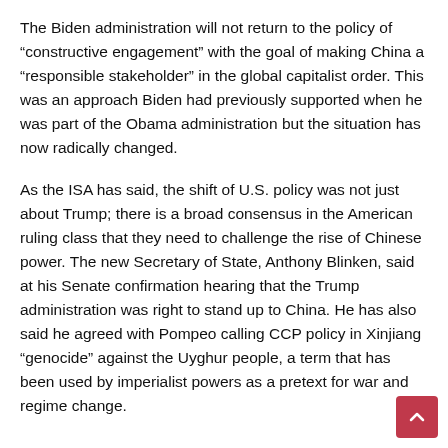The Biden administration will not return to the policy of “constructive engagement” with the goal of making China a “responsible stakeholder” in the global capitalist order. This was an approach Biden had previously supported when he was part of the Obama administration but the situation has now radically changed.
As the ISA has said, the shift of U.S. policy was not just about Trump; there is a broad consensus in the American ruling class that they need to challenge the rise of Chinese power. The new Secretary of State, Anthony Blinken, said at his Senate confirmation hearing that the Trump administration was right to stand up to China. He has also said he agreed with Pompeo calling CCP policy in Xinjiang “genocide” against the Uyghur people, a term that has been used by imperialist powers as a pretext for war and regime change.